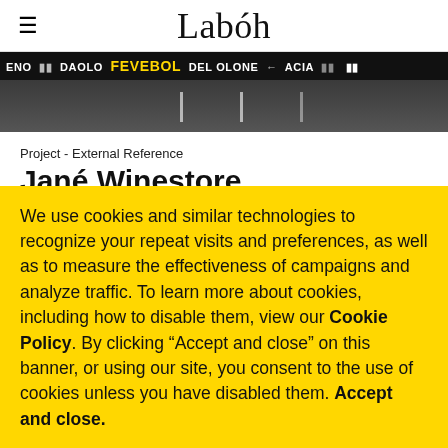Labóh
[Figure (photo): Dark photo strip showing a road or stadium with text overlay reading ticker-style text including 'DAOLO FEVEBOL DEL OLONE ACIA']
Project - External Reference
Jané Winestore
Since 1944 Jané Group has been one of the main liquor
We use cookies and similar technologies to recognize your repeat visits and preferences, as well as to measure the effectiveness of campaigns and analyze traffic. To learn more about cookies, including how to disable them, view our Cookie Policy. By clicking "Accept and close" on this banner, or using our site, you consent to the use of cookies unless you have disabled them. Accept and close.